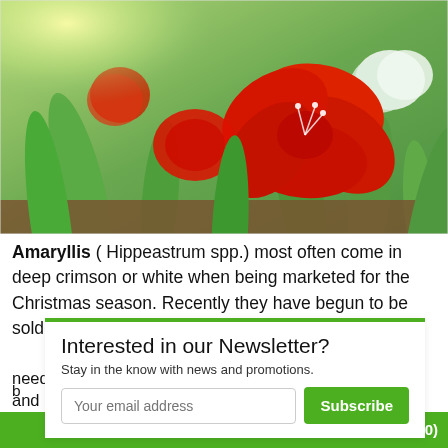[Figure (photo): A garden of red and white amaryllis (Hippeastrum) flowers in bloom, with large red flowers prominently in the foreground and green foliage, backlit with warm sunlight on the left.]
Amaryllis ( Hippeastrum spp.) most often come in deep crimson or white when being marketed for the Christmas season. Recently they have begun to be sold as wax-covered b[ulbs...]
Interested in our Newsletter? Stay in the know with news and promotions. [email input] Subscribe
need moderate amounts of water to survive and
Cart (0)